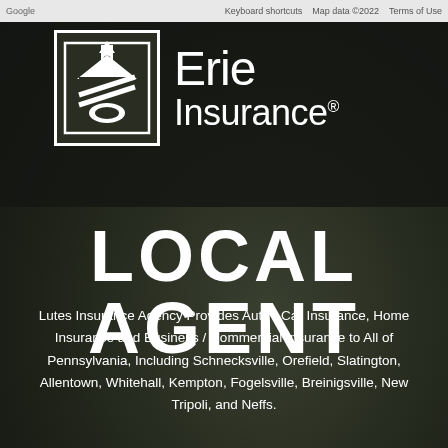Google  Keyboard shortcuts  Map data ©2022  Terms of Use
[Figure (logo): Erie Insurance logo: white building/house icon in a bordered box, beside 'Erie Insurance®' text in white on dark background]
LOCAL AGENT
Lutes Insurance Agency Provides Auto / Car Insurance, Home Insurance and Business / Commercial Insurance to All of Pennsylvania, Including Schnecksville, Orefield, Slatington, Allentown, Whitehall, Kempton, Fogelsville, Breinigsville, New Tripoli, and Neffs.